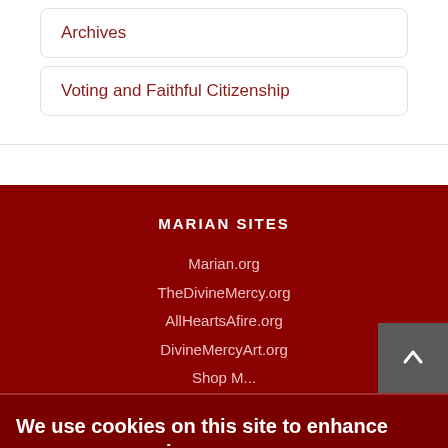Archives
Voting and Faithful Citizenship
MARIAN SITES
Marian.org
TheDivineMercy.org
AllHeartsAfire.org
DivineMercyArt.org
Shop M...
We use cookies on this site to enhance your user experience
By clicking the Accept button, you agree to us doing so.